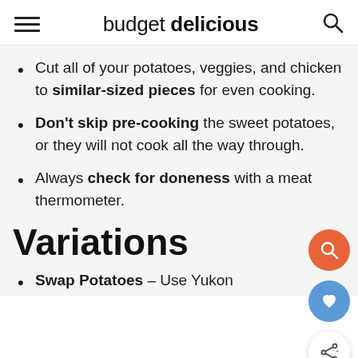budget delicious
Cut all of your potatoes, veggies, and chicken to similar-sized pieces for even cooking.
Don't skip pre-cooking the sweet potatoes, or they will not cook all the way through.
Always check for doneness with a meat thermometer.
Variations
Swap Potatoes – Use Yukon